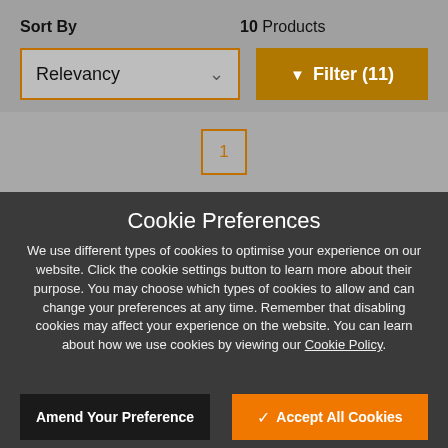Sort By
10 Products
Relevancy
▼ Filter (11)
1
Cookie Preferences
We use different types of cookies to optimise your experience on our website. Click the cookie settings button to learn more about their purpose. You may choose which types of cookies to allow and can change your preferences at any time. Remember that disabling cookies may affect your experience on the website. You can learn about how we use cookies by viewing our Cookie Policy.
Amend Your Preference
Accept All Cookies